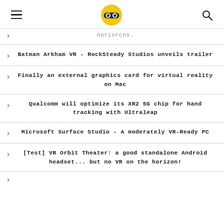[logo] [hamburger menu] [search]
noriorcns.
Batman Arkham VR - RockSteady Studios unveils trailer
Finally an external graphics card for virtual reality on Mac
Qualcomm will optimize its XR2 5G chip for hand tracking with Ultraleap
Microsoft Surface Studio - A moderately VR-Ready PC
[Test] VR Orbit Theater: a good standalone Android headset... but no VR on the horizon!